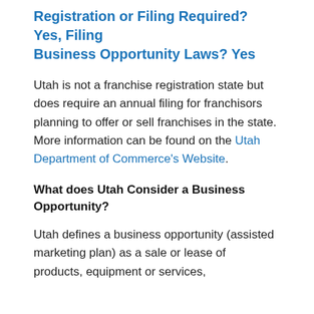Registration or Filing Required? Yes, Filing
Business Opportunity Laws? Yes
Utah is not a franchise registration state but does require an annual filing for franchisors planning to offer or sell franchises in the state. More information can be found on the Utah Department of Commerce's Website.
What does Utah Consider a Business Opportunity?
Utah defines a business opportunity (assisted marketing plan) as a sale or lease of products, equipment or services,